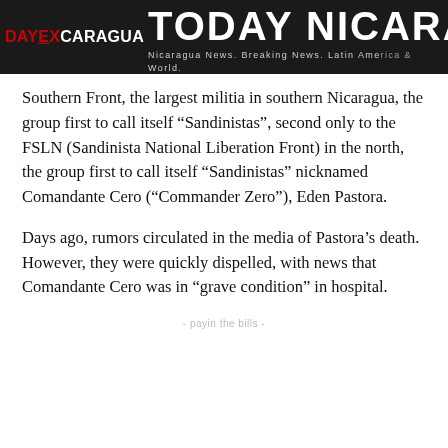TODAY NICARAGUA — Nicaragua News. Breaking News. Latin America & World.
Southern Front, the largest militia in southern Nicaragua, the group first to call itself “Sandinistas”, second only to the FSLN (Sandinista National Liberation Front) in the north, the group first to call itself “Sandinistas” nicknamed Comandante Cero (“Commander Zero”), Eden Pastora.
Days ago, rumors circulated in the media of Pastora’s death. However, they were quickly dispelled, with news that Comandante Cero was in “grave condition” in hospital.
- payin the bills -